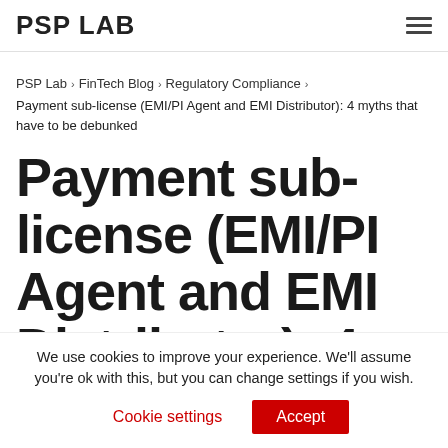PSP LAB
PSP Lab › FinTech Blog › Regulatory Compliance › Payment sub-license (EMI/PI Agent and EMI Distributor): 4 myths that have to be debunked
Payment sub-license (EMI/PI Agent and EMI Distributor): 4 myths that
We use cookies to improve your experience. We'll assume you're ok with this, but you can change settings if you wish.
Cookie settings   Accept